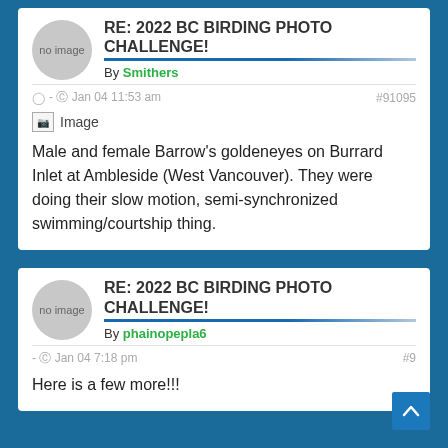RE: 2022 BC BIRDING PHOTO CHALLENGE!
By Smithers
- Jan 04 11:53 am  #91095
[Figure (photo): Broken/missing image placeholder labeled 'Image']
Male and female Barrow's goldeneyes on Burrard Inlet at Ambleside (West Vancouver). They were doing their slow motion, semi-synchronized swimming/courtship thing.
RE: 2022 BC BIRDING PHOTO CHALLENGE!
By phainopepla6
- Jan 04 7:18 pm  #9
Here is a few more!!!